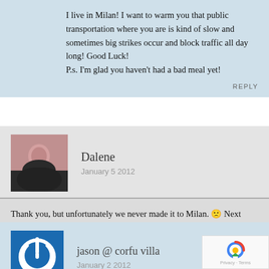I live in Milan! I want to warm you that public transportation where you are is kind of slow and sometimes big strikes occur and block traffic all day long! Good Luck! P.s. I'm glad you haven't had a bad meal yet!
REPLY
Dalene
January 5 2012
Thank you, but unfortunately we never made it to Milan. 🙁 Next time!
REPLY
jason @ corfu villa
January 2 2012